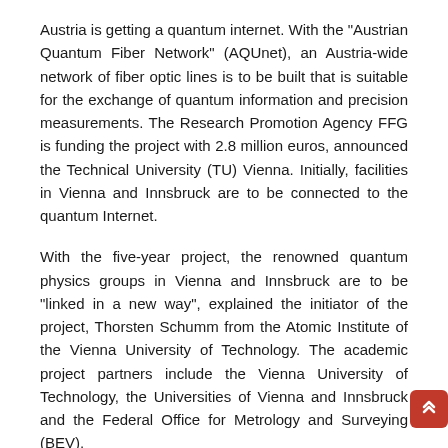Austria is getting a quantum internet. With the "Austrian Quantum Fiber Network" (AQUnet), an Austria-wide network of fiber optic lines is to be built that is suitable for the exchange of quantum information and precision measurements. The Research Promotion Agency FFG is funding the project with 2.8 million euros, announced the Technical University (TU) Vienna. Initially, facilities in Vienna and Innsbruck are to be connected to the quantum Internet.
With the five-year project, the renowned quantum physics groups in Vienna and Innsbruck are to be “linked in a new way”, explained the initiator of the project, Thorsten Schumm from the Atomic Institute of the Vienna University of Technology. The academic project partners include the Vienna University of Technology, the Universities of Vienna and Innsbruck and the Federal Office for Metrology and Surveying (BEV).